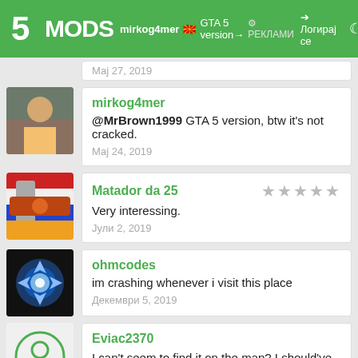5MODS - mirkog4mer GTA 5 version - Логирај се
Мај 27, 2019
mirkog4mer - @MrBrown1999 GTA 5 version, btw it's not cracked. - Мај 24, 2019
Matador da 25 - Very interessing. - Јули 2, 2019
ohmcodes - im crashing whenever i visit this place - Декември 5, 2019
Eviac2370 - I can't seem to find it on the map? I should've installed fivem ipl master. Don't know if it's installed correctly tho ^^